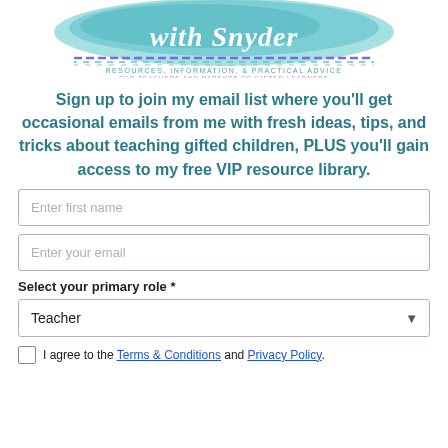[Figure (logo): Logo for 'with Snyder' blog with teal watercolor background, dashed rainbow line, and taglines 'RESOURCES, INFORMATION, & PRACTICAL ADVICE FOR TEACHERS AND PARENTS OF GIFTED LEARNERS']
Sign up to join my email list where you'll get occasional emails from me with fresh ideas, tips, and tricks about teaching gifted children, PLUS you'll gain access to my free VIP resource library.
Enter first name
Enter your email
Select your primary role *
Teacher
I agree to the Terms & Conditions and Privacy Policy.